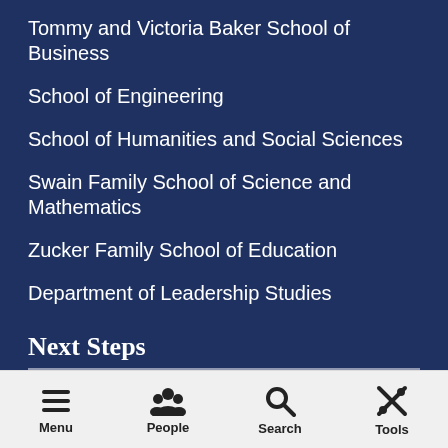Tommy and Victoria Baker School of Business
School of Engineering
School of Humanities and Social Sciences
Swain Family School of Science and Mathematics
Zucker Family School of Education
Department of Leadership Studies
Next Steps
Apply Now
Menu  People  Search  Tools